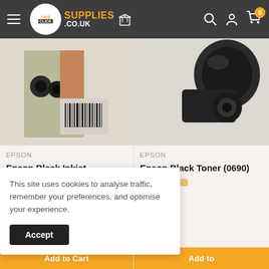[Figure (screenshot): OneClickSupplies.co.uk website header with hamburger menu, logo, search icon, account icon, and cart icon with 0 badge]
[Figure (photo): Epson Black Inkjet Cartridge (378) product image showing ink cartridge packaging with barcode]
[Figure (photo): Epson Black Toner (0690) product image showing black cylindrical toner cartridge]
EPSON
Epson Black Inkjet Cartridge (378)
EPSON
Epson Black Toner (0690)
This site uses cookies to analyse traffic, remember your preferences, and optimise your experience.
Accept
Add to Cart
Add to